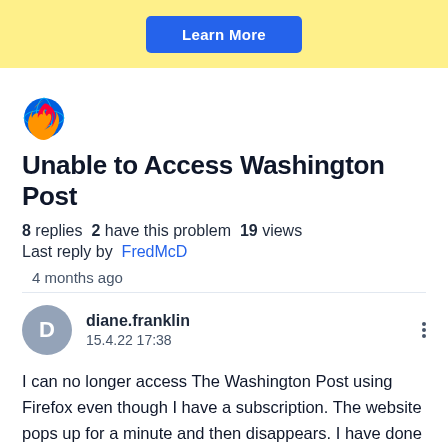[Figure (other): Yellow banner with a blue 'Learn More' button]
[Figure (logo): Firefox browser logo (orange and purple flame circle)]
Unable to Access Washington Post
8 replies  2 have this problem  19 views
Last reply by FredMcD
4 months ago
diane.franklin
15.4.22 17:38
I can no longer access The Washington Post using Firefox even though I have a subscription. The website pops up for a minute and then disappears. I have done a search for help with this problem, but I've not found a solution. This does it happen with any other site. A